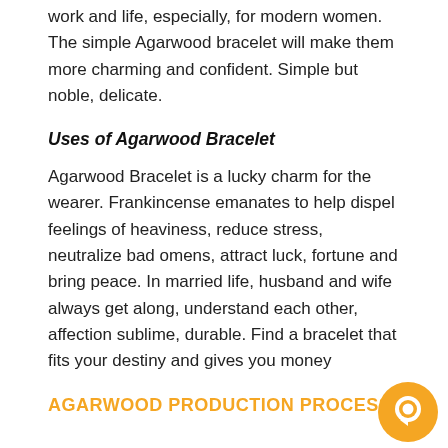work and life, especially, for modern women. The simple Agarwood bracelet will make them more charming and confident. Simple but noble, delicate.
Uses of Agarwood Bracelet
Agarwood Bracelet is a lucky charm for the wearer. Frankincense emanates to help dispel feelings of heaviness, reduce stress, neutralize bad omens, attract luck, fortune and bring peace. In married life, husband and wife always get along, understand each other, affection sublime, durable. Find a bracelet that fits your destiny and gives you money
AGARWOOD PRODUCTION PROCESS
[Figure (illustration): Yellow circular chat/messenger icon button in bottom right corner]